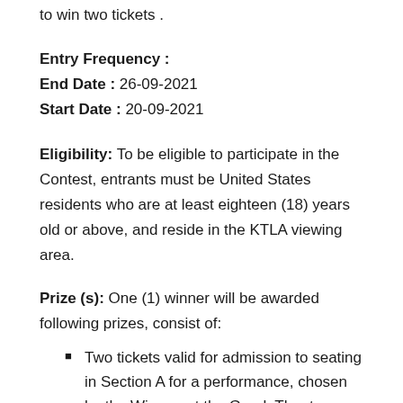to win two tickets .
Entry Frequency :
End Date : 26-09-2021
Start Date : 20-09-2021
Eligibility: To be eligible to participate in the Contest, entrants must be United States residents who are at least eighteen (18) years old or above, and reside in the KTLA viewing area.
Prize (s): One (1) winner will be awarded following prizes, consist of:
Two tickets valid for admission to seating in Section A for a performance, chosen by the Winner, at the Greek Theatre, 2700 North Vermont Ave., Los Angeles, CA.
A $100 VISA gift card.
Transportation to and from the Greek Theatre in a